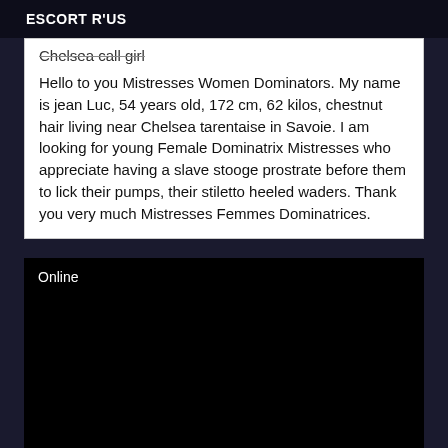ESCORT R'US
Chelsea call girl
Hello to you Mistresses Women Dominators. My name is jean Luc, 54 years old, 172 cm, 62 kilos, chestnut hair living near Chelsea tarentaise in Savoie. I am looking for young Female Dominatrix Mistresses who appreciate having a slave stooge prostrate before them to lick their pumps, their stiletto heeled waders. Thank you very much Mistresses Femmes Dominatrices.
Online